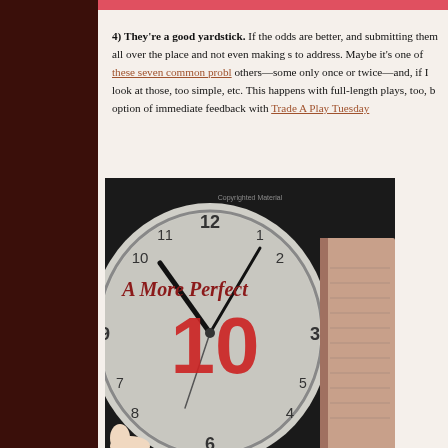4) They're a good yardstick. If the odds are better, and submitting them all over the place and not even making s to address. Maybe it's one of these seven common probl others—some only once or twice—and, if I look at those, too simple, etc. This happens with full-length plays, too, b option of immediate feedback with Trade A Play Tuesday
[Figure (photo): Book cover showing 'A More Perfect 10' with a clock face in the background, red large '10' text overlaid. Small watermark reads 'Copyrighted Material'.]